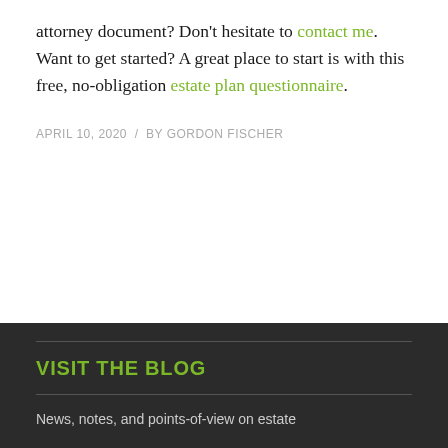attorney document? Don't hesitate to contact me. Want to get started? A great place to start is with this free, no-obligation estate plan questionnaire.
APRIL 10, 2020  /  BY GORDON FISCHER
VISIT THE BLOG
News, notes, and points-of-view on estate